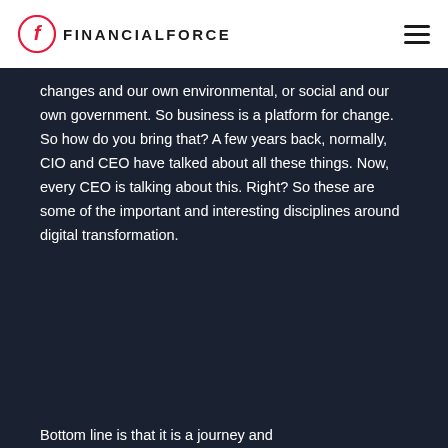FINANCIALFORCE
changes and our own environmental, or social and our own government. So business is a platform for change. So how do you bring that? A few years back, normally, CIO and CEO have talked about all these things. Now, every CEO is talking about this. Right? So these are some of the important and interesting disciplines around digital transformation.
Bottom line is that it is a journey and